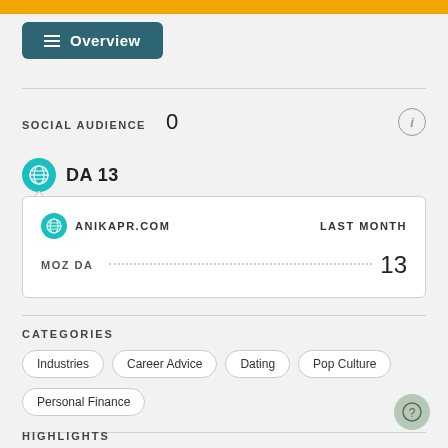Overview
SOCIAL AUDIENCE 0
DA 13
|  | LAST MONTH |
| --- | --- |
| ANIKAPR.COM |  |
| MOZ DA | 13 |
CATEGORIES
Industries
Career Advice
Dating
Pop Culture
Personal Finance
HIGHLIGHTS